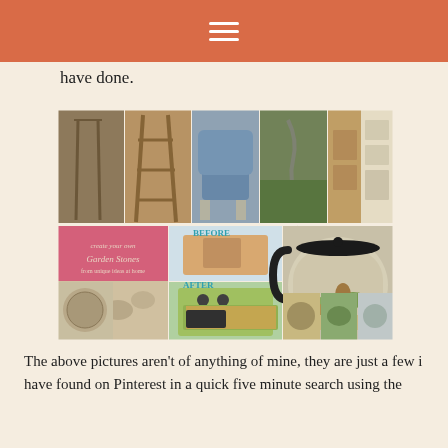≡
have done.
[Figure (photo): Collage of upcycled/repurposed DIY furniture and craft projects found on Pinterest, including crutches repurposed as shelving, a ladder shelf, a reupholstered armchair, a serpentine garden sculpture, a wooden dresser/hutch, a white painted cabinet, garden stones craft tutorial, a before/after TV cabinet turned children's play kitchen, a coffee pot terrarium, and small terrarium arrangements.]
The above pictures aren't of anything of mine, they are just a few i have found on Pinterest in a quick five minute search using the